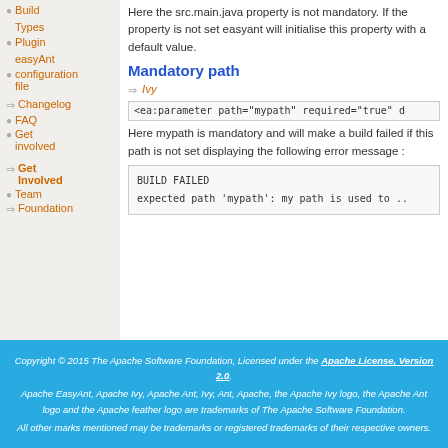Build
Types
Plugin
easyAnt configuration file
Here the src.main.java property is not mandatory. If the property is not set easyant will initialise this property with a default value.
Mandatory path
Ivy
<ea:parameter path="mypath" required="true" d
Changelog
FAQ
Get involved
Here mypath is mandatory and will make a build failed if this path is not set displaying the following error message :
Get Involved
BUILD FAILED
expected path 'mypath': my path is used to ..
Team
Foundation
Copyright © 2015 The Apache Software Foundation, Licensed under the Apache License, Version 2.0.
Apache EasyAnt, Apache Ivy, Apache Ant, Ivy, Ant, Apache, the Apache Ivy logo, the Apache Ant logo and the Apache feather logo are trademarks of The Apache Software Foundation.
All other marks mentioned may be trademarks or registered trademarks of their respective owners.